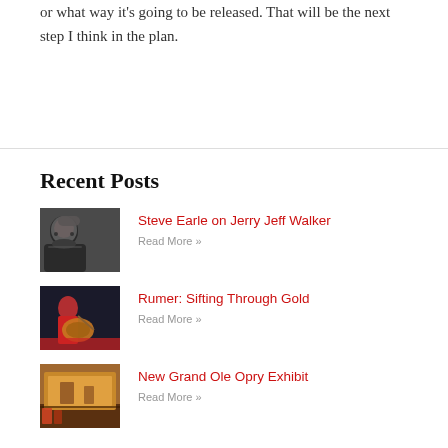or what way it's going to be released. That will be the next step I think in the plan.
Recent Posts
Steve Earle on Jerry Jeff Walker — Read More »
Rumer: Sifting Through Gold — Read More »
New Grand Ole Opry Exhibit — Read More »